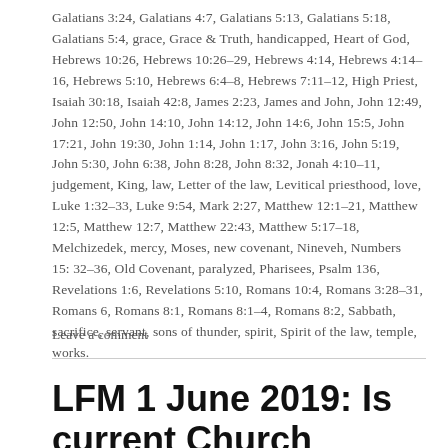Galatians 3:24, Galatians 4:7, Galatians 5:13, Galatians 5:18, Galatians 5:4, grace, Grace & Truth, handicapped, Heart of God, Hebrews 10:26, Hebrews 10:26–29, Hebrews 4:14, Hebrews 4:14–16, Hebrews 5:10, Hebrews 6:4–8, Hebrews 7:11–12, High Priest, Isaiah 30:18, Isaiah 42:8, James 2:23, James and John, John 12:49, John 12:50, John 14:10, John 14:12, John 14:6, John 15:5, John 17:21, John 19:30, John 1:14, John 1:17, John 3:16, John 5:19, John 5:30, John 6:38, John 8:28, John 8:32, Jonah 4:10–11, judgement, King, law, Letter of the law, Levitical priesthood, love, Luke 1:32–33, Luke 9:54, Mark 2:27, Matthew 12:1–21, Matthew 12:5, Matthew 12:7, Matthew 22:43, Matthew 5:17–18, Melchizedek, mercy, Moses, new covenant, Nineveh, Numbers 15:32–36, Old Covenant, paralyzed, Pharisees, Psalm 136, Revelations 1:6, Revelations 5:10, Romans 10:4, Romans 3:28–31, Romans 6, Romans 8:1, Romans 8:1–4, Romans 8:2, Sabbath, sacrifice, servant, sons of thunder, spirit, Spirit of the law, temple, works.
Leave a comment
LFM 1 June 2019: Is current Church